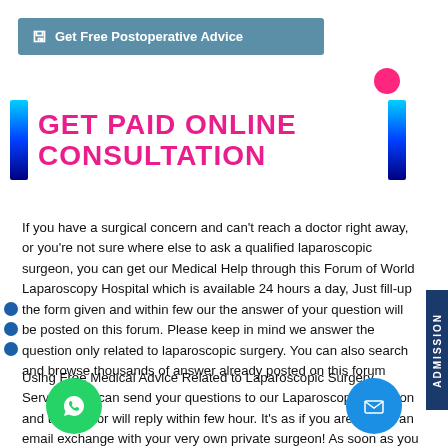🖫 Get Free Postoperative Advice
GET PAID ONLINE CONSULTATION
If you have a surgical concern and can't reach a doctor right away, or you're not sure where else to ask a qualified laparoscopic surgeon, you can get our Medical Help through this Forum of World Laparoscopy Hospital which is available 24 hours a day, Just fill-up the form given and within few our the answer of your question will be posted on this forum. Please keep in mind we answer the question only related to laparoscopic surgery. You can also search and browse thousands of answer already posted on this forum
Using Free Medical Advice Related to Laparoscopic Surgery Service, you can send your questions to our Laparoscopic Surgeon and the Doctor will reply within few hour. It's as if you are having an email exchange with your very own private surgeon! As soon as you post your question, a qualified laparoscopic surgeon will start answering it. Our experts help you learn more about the treatment and procedure options available to you for different health problems and diseases. They'll also give you information to discuss with your doctor when deciding what kind of surgical treatment is best for you.